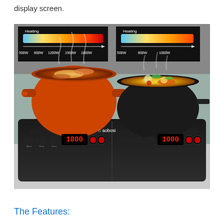display screen.
[Figure (photo): A dual induction cooktop (branded 'aobosi') with two burners. The left burner has an orange cast-iron pot with braised meat/stew steaming, and the right burner has a black skillet with paella/rice dish with vegetables. Above the cooktop are two heating level indicators showing: left burner 500W 800W 1200W 1500W 1800W and right burner 500W 800W 1000W, displayed as gradient color bars from blue to red/orange. The cooktop display shows 1800 on the left and 1000 on the right.]
The Features: